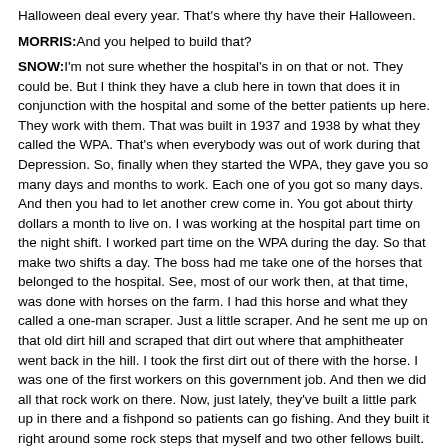Halloween deal every year. That's where thy have their Halloween.
MORRIS: And you helped to build that?
SNOW: I'm not sure whether the hospital's in on that or not. They could be. But I think they have a club here in town that does it in conjunction with the hospital and some of the better patients up here. They work with them. That was built in 1937 and 1938 by what they called the WPA. That's when everybody was out of work during that Depression. So, finally when they started the WPA, they gave you so many days and months to work. Each one of you got so many days. And then you had to let another crew come in. You got about thirty dollars a month to live on. I was working at the hospital part time on the night shift. I worked part time on the WPA during the day. So that make two shifts a day. The boss had me take one of the horses that belonged to the hospital. See, most of our work then, at that time, was done with horses on the farm. I had this horse and what they called a one-man scraper. Just a little scraper. And he sent me up on that old dirt hill and scraped that dirt out where that amphitheater went back in the hill. I took the first dirt out of there with the horse. I was one of the first workers on this government job. And then we did all that rock work on there. Now, just lately, they've built a little park up in there and a fishpond so patients can go fishing. And they built it right around some rock steps that myself and two other fellows built. They're still there.
MORRIS: How long did it take you to build?
SNOW: Oh, that thing was going on for a couple of years or so.